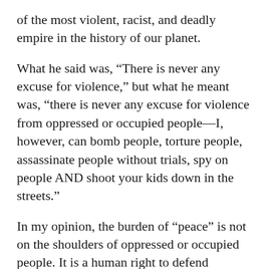of the most violent, racist, and deadly empire in the history of our planet.
What he said was, “There is never any excuse for violence,” but what he meant was, “there is never any excuse for violence from oppressed or occupied people—I, however, can bomb people, torture people, assassinate people without trials, spy on people AND shoot your kids down in the streets.”
In my opinion, the burden of “peace” is not on the shoulders of oppressed or occupied people. It is a human right to defend ourselves and our loved ones.
Obama also said, “the police put their lives on the